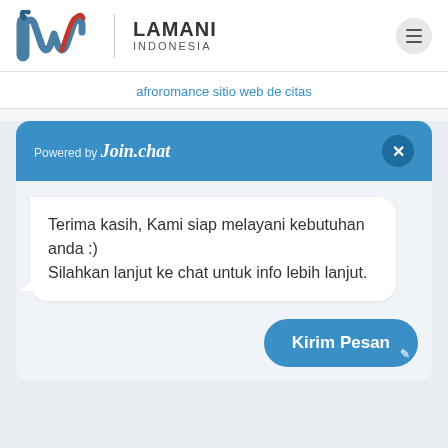[Figure (logo): Lamani Indonesia logo with stylized 'lw' mark and text LAMANI INDONESIA, plus hamburger menu button]
afroromance sitio web de citas
[Figure (screenshot): Join.chat widget with blue header showing 'Powered by Join.chat' and close button, chat message bubble saying 'Terima kasih, Kami siap melayani kebutuhan anda :) Silahkan lanjut ke chat untuk info lebih lanjut.', and blue 'Kirim Pesan' button]